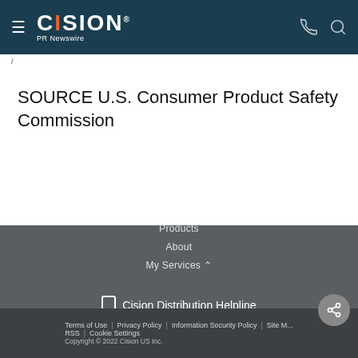CISION PR Newswire
/
SOURCE U.S. Consumer Product Safety Commission
Contact Cision
Products
About
My Services
Cision Distribution Helpline
888-776-0942
Terms of Use | Privacy Policy | Information Security Policy | Site Map | RSS | Cookie Settings
Copyright © 2022 Cision US Inc.